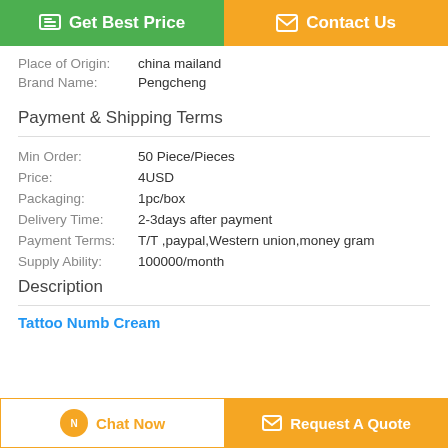[Figure (other): Two buttons: 'Get Best Price' (green) and 'Contact Us' (orange)]
Place of Origin: china mailand
Brand Name: Pengcheng
Payment & Shipping Terms
Min Order: 50 Piece/Pieces
Price: 4USD
Packaging: 1pc/box
Delivery Time: 2-3days after payment
Payment Terms: T/T ,paypal,Western union,money gram
Supply Ability: 100000/month
Description
Tattoo Numb Cream
[Figure (other): Two bottom buttons: 'Chat Now' (white/orange outline) and 'Request A Quote' (orange)]